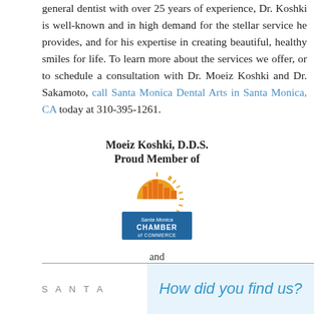general dentist with over 25 years of experience, Dr. Koshki is well-known and in high demand for the stellar service he provides, and for his expertise in creating beautiful, healthy smiles for life. To learn more about the services we offer, or to schedule a consultation with Dr. Moeiz Koshki and Dr. Sakamoto, call Santa Monica Dental Arts in Santa Monica, CA today at 310-395-1261.
Moeiz Koshki, D.D.S.
Proud Member of
[Figure (logo): Santa Monica Chamber of Commerce logo with orange/gold sunburst and city skyline graphic above blue wave bands and text reading 'Santa Monica CHAMBER of COMMERCE']
and
Proud Corporate Partners of the Santa Monica Malibu Education Foundation
SANTA
How did you find us?